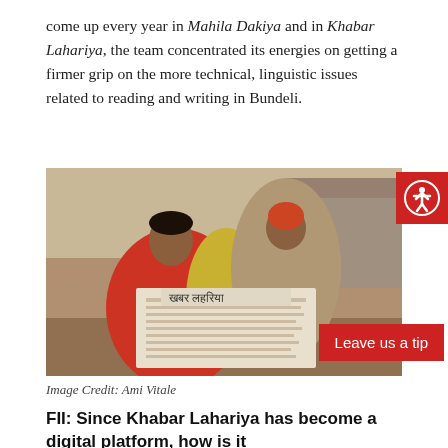come up every year in Mahila Dakiya and in Khabar Lahariya, the team concentrated its energies on getting a firmer grip on the more technical, linguistic issues related to reading and writing in Bundeli.
[Figure (photo): A woman in a red sari reads a newspaper (Khabar Lahariya) while another woman stands behind her holding a child. A red accessibility icon button appears top-right and a red 'Leave us a tip' button appears bottom-right.]
Image Credit: Ami Vitale
FII: Since Khabar Lahariya has become a digital platform, how is it